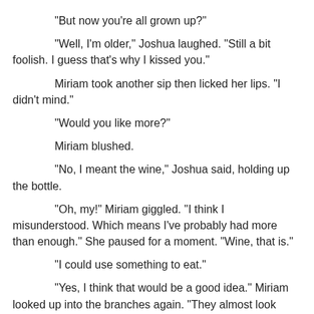"But now you're all grown up?"
"Well, I'm older," Joshua laughed. "Still a bit foolish. I guess that's why I kissed you."
Miriam took another sip then licked her lips. "I didn't mind."
"Would you like more?"
Miriam blushed.
"No, I meant the wine," Joshua said, holding up the bottle.
"Oh, my!" Miriam giggled. "I think I misunderstood. Which means I've probably had more than enough." She paused for a moment. "Wine, that is."
"I could use something to eat."
"Yes, I think that would be a good idea." Miriam looked up into the branches again. "They almost look alive. More so than just trees, I mean. The wind makes them appear to be moving, doesn't it?"